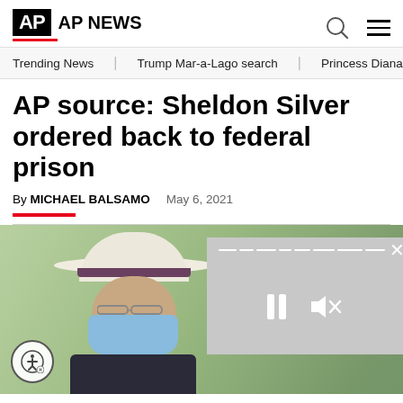AP NEWS
Trending News · Trump Mar-a-Lago search · Princess Diana's dea…
AP source: Sheldon Silver ordered back to federal prison
By MICHAEL BALSAMO   May 6, 2021
[Figure (photo): Man wearing a white wide-brim hat, glasses, and blue face mask outdoors, with video player overlay in the corner]